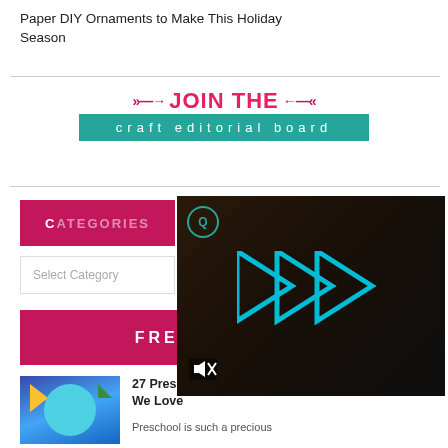Paper DIY Ornaments to Make This Holiday Season
[Figure (infographic): JOIN THE craft editorial board banner with pink text and teal background bar]
CATEGORIES
Select Category
[Figure (screenshot): Video overlay showing play button arrows and mute icon on dark background]
FREE EBOOKS
[Figure (photo): Preschool craft photo showing a blue fish face made from paper plate with yellow fin pieces on blue background]
27 Preschool Craft Ideas We Love
Preschool is such a precious